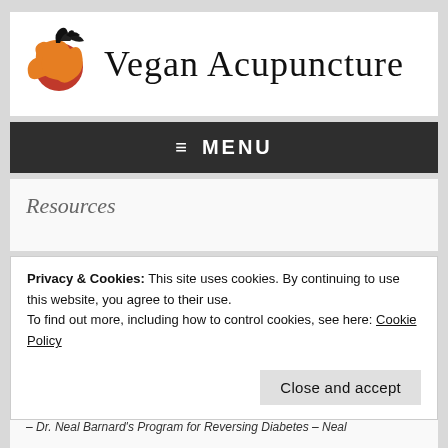[Figure (logo): Vegan Acupuncture logo with a stylized phoenix/bird in orange and red circle on left, and text 'Vegan Acupuncture' in serif font on right]
≡ MENU
Resources
Privacy & Cookies: This site uses cookies. By continuing to use this website, you agree to their use.
To find out more, including how to control cookies, see here: Cookie Policy
Close and accept
Dr. Neal Barnard's Program for Reversing Diabetes – Neal